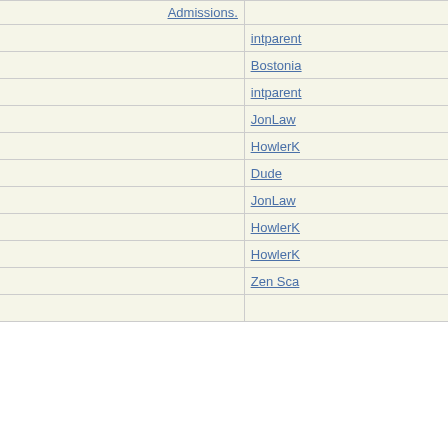| Topic | Author |
| --- | --- |
| Re: Ivy League Admissions. | intparent |
| Re: Ivy League Admissions. | Bostonia |
| Re: Ivy League Admissions. | intparent |
| Re: Ivy League Admissions. | JonLaw |
| Re: Ivy League Admissions. | HowlerK |
| Re: Ivy League Admissions. | Dude |
| Re: Ivy League Admissions. | JonLaw |
| Re: Ivy League Admissions. | HowlerK |
| Re: Ivy League Admissions. | HowlerK |
| Re: Ivy League Admissions. | Zen Sca |